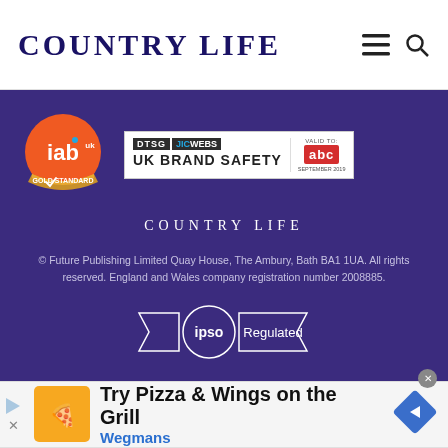COUNTRY LIFE
[Figure (logo): IAB UK gold standard certified badge - orange circle with 'iab' text]
[Figure (logo): DTSG JICWebs UK Brand Safety badge with ABC validated seal]
COUNTRY LIFE
© Future Publishing Limited Quay House, The Ambury, Bath BA1 1UA. All rights reserved. England and Wales company registration number 2008885.
[Figure (logo): IPSO Regulated badge - circle with ribbon]
[Figure (infographic): Advertisement banner: Try Pizza & Wings on the Grill - Wegmans]
Try Pizza & Wings on the Grill
Wegmans